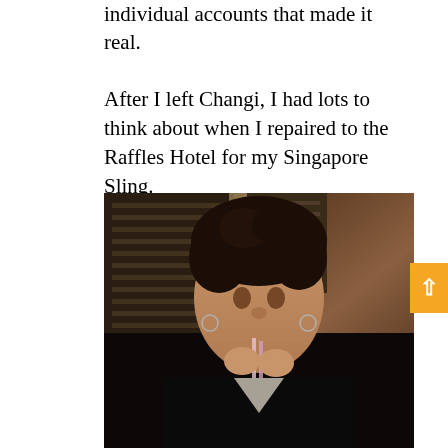individual accounts that made it real.
After I left Changi, I had lots to think about when I repaired to the Raffles Hotel for my Singapore Sling.
[Figure (photo): A woman with short curly dark hair drinking through a straw at what appears to be the Raffles Hotel. She is wearing a black top and hoop earrings, with wooden shutters visible in the background.]